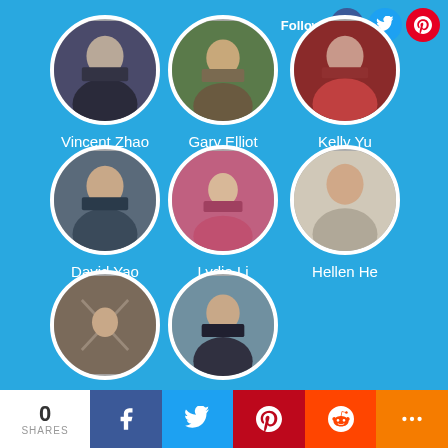[Figure (infographic): Social media follower grid with 8 circular profile photos and names on a blue background, with Follow buttons for Facebook, Twitter, Pinterest at top right. Row 1: Vincent Zhao, Gary Elliot, Kelly Yu. Row 2: David Yao, Lydia Li, Hellen He. Row 3: Cindy Cao, Charlie Lee.]
0 SHARES | Facebook | Twitter | Pinterest | Reddit | More